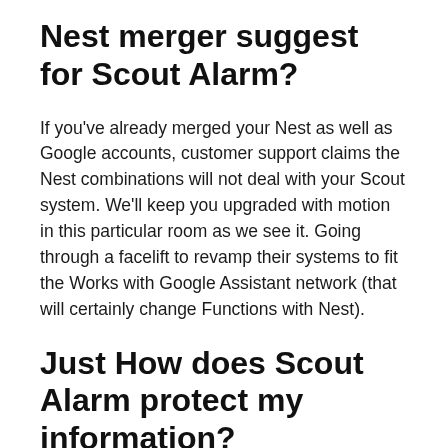Nest merger suggest for Scout Alarm?
If you've already merged your Nest as well as Google accounts, customer support claims the Nest combinations will not deal with your Scout system. We'll keep you upgraded with motion in this particular room as we see it. Going through a facelift to revamp their systems to fit the Works with Google Assistant network (that will certainly change Functions with Nest).
Just How does Scout Alarm protect my information?